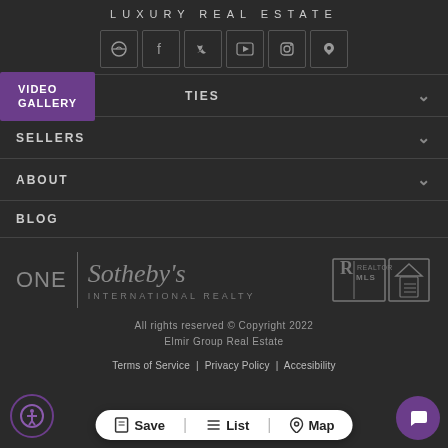LUXURY REAL ESTATE
[Figure (infographic): Row of social media icon buttons: phone, Facebook, Twitter, YouTube, Instagram, Pinterest]
[Figure (infographic): VIDEO GALLERY purple tab overlaying navigation]
PROPERTIES (with dropdown chevron)
SELLERS (with dropdown chevron)
ABOUT (with dropdown chevron)
BLOG
[Figure (logo): ONE Sotheby's International Realty logo with Realtor MLS and Equal Housing Opportunity badges]
All rights reserved © Copyright 2022
Elmir Group Real Estate
Terms of Service | Privacy Policy | Accesibility
[Figure (infographic): Bottom action bar with Save, List, Map buttons; accessibility icon bottom left; chat bubble icon bottom right]